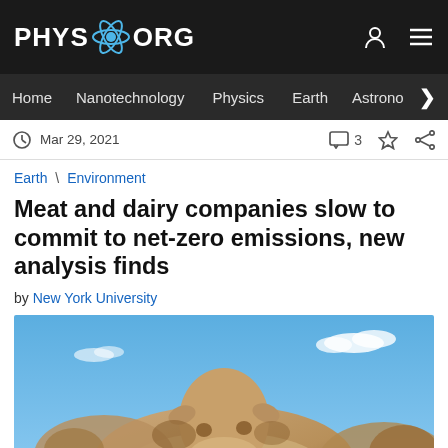PHYS.ORG
Home | Nanotechnology | Physics | Earth | Astronomy >
Mar 29, 2021   3
Earth \ Environment
Meat and dairy companies slow to commit to net-zero emissions, new analysis finds
by New York University
[Figure (photo): Cattle (cows) photographed from below against a blue sky with clouds]